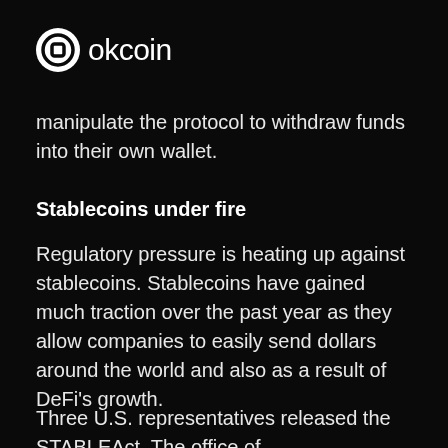[Figure (logo): OKCoin logo with circular icon and text 'okcoin']
manipulate the protocol to withdraw funds into their own wallet.
Stablecoins under fire
Regulatory pressure is heating up against stablecoins. Stablecoins have gained much traction over the past year as they allow companies to easily send dollars around the world and also as a result of DeFi's growth.
Three U.S. representatives released the STABLEAct. The office of Congresswoman